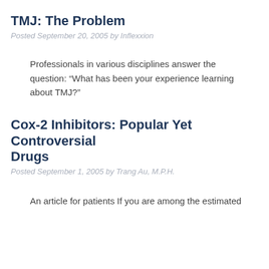TMJ: The Problem
Posted September 20, 2005 by Inflexxion
Professionals in various disciplines answer the question: “What has been your experience learning about TMJ?”
Cox-2 Inhibitors: Popular Yet Controversial Drugs
Posted September 1, 2005 by Trang Au, M.P.H.
An article for patients If you are among the estimated